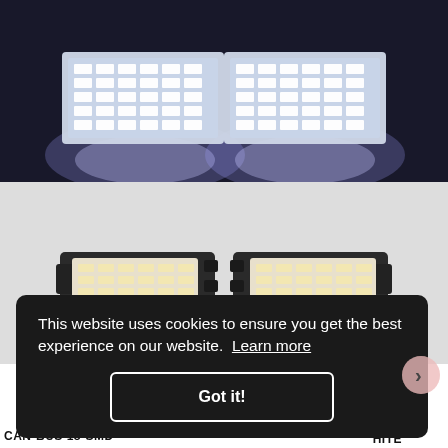[Figure (photo): Two white LED license plate lights glowing brightly against a dark background, showing intense white light emanating from rectangular LED arrays]
[Figure (photo): Two LED license plate light modules side by side on a light grey background, showing the physical product with black housing and LED arrays visible]
This website uses cookies to ensure you get the best experience on our website. Learn more
Got it!
HITE
CAN-BUS 18-SMD